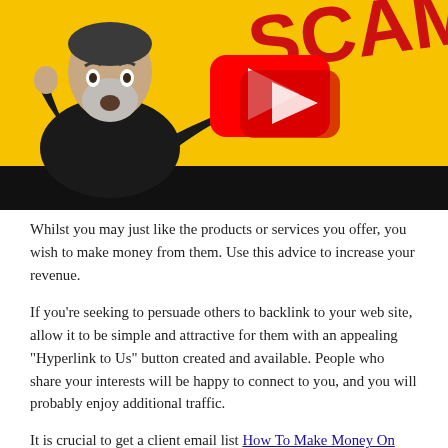[Figure (screenshot): YouTube video thumbnail showing a man with beard pointing, with SCAM text, YouTube play button, yellow background and black bar at bottom]
Whilst you may just like the products or services you offer, you wish to make money from them. Use this advice to increase your revenue.
If you're seeking to persuade others to backlink to your web site, allow it to be simple and attractive for them with an appealing "Hyperlink to Us" button created and available. People who share your interests will be happy to connect to you, and you will probably enjoy additional traffic.
It is crucial to get a client email list How To Make Money On Youtube Without Making Videos Incorporate a sign-up page in your website, or demand your customers' email after they complete a purchase. This